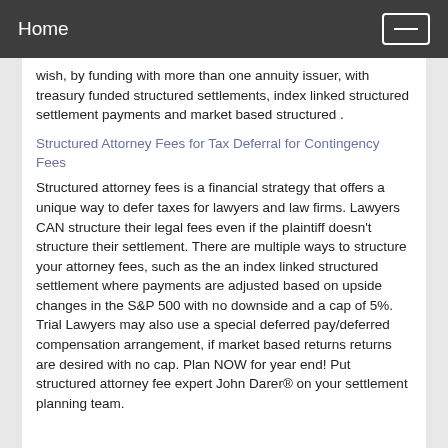Home
wish, by funding with more than one annuity issuer, with treasury funded structured settlements, index linked structured settlement payments and market based structured .
Structured Attorney Fees for Tax Deferral for Contingency Fees
Structured attorney fees is a financial strategy that offers a unique way to defer taxes for lawyers and law firms. Lawyers CAN structure their legal fees even if the plaintiff doesn't structure their settlement. There are multiple ways to structure your attorney fees, such as the an index linked structured settlement where payments are adjusted based on upside changes in the S&P 500 with no downside and a cap of 5%. Trial Lawyers may also use a special deferred pay/deferred compensation arrangement, if market based returns returns are desired with no cap. Plan NOW for year end! Put structured attorney fee expert John Darer® on your settlement planning team.